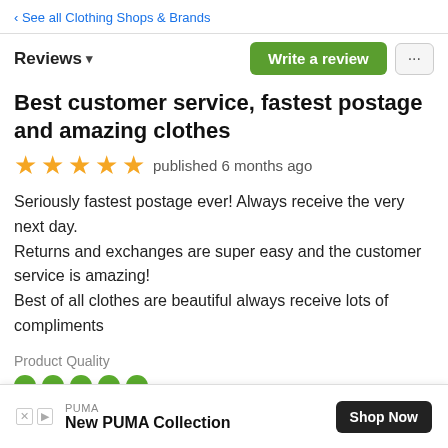‹ See all Clothing Shops & Brands
Reviews ▾
Write a review
···
Best customer service, fastest postage and amazing clothes
★★★★★ published 6 months ago
Seriously fastest postage ever! Always receive the very next day.
Returns and exchanges are super easy and the customer service is amazing!
Best of all clothes are beautiful always receive lots of compliments
Product Quality
●●●●●
PUMA
New PUMA Collection  Shop Now